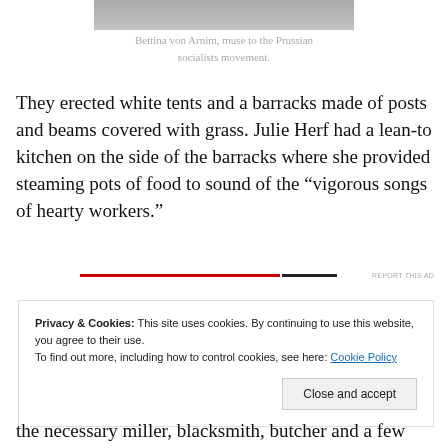[Figure (photo): Cropped photo at top of page, partially visible, appears to be a portrait image (Bettina von Arnim)]
Bettina von Arnim, muse to the Prussian socialists movement.
They erected white tents and a barracks made of posts and beams covered with grass. Julie Herf had a lean-to kitchen on the side of the barracks where she provided steaming pots of food to sound of the “vigorous songs of hearty workers.”
Privacy & Cookies: This site uses cookies. By continuing to use this website, you agree to their use.
To find out more, including how to control cookies, see here: Cookie Policy
the necessary miller, blacksmith, butcher and a few